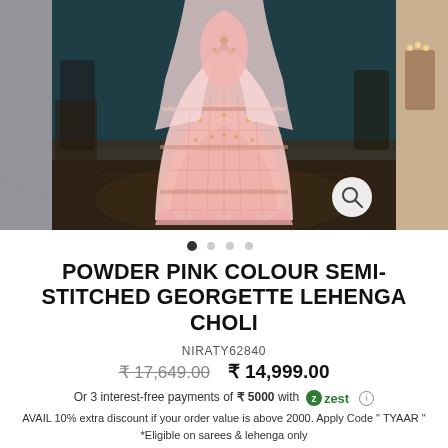[Figure (photo): A woman wearing a powder pink semi-stitched georgette lehenga choli with intricate embroidery and mirror work, photographed in a studio setting with dark teal background. Three panels visible: left side panel, main center product shot, right side panel.]
POWDER PINK COLOUR SEMI-STITCHED GEORGETTE LEHENGA CHOLI
NIRATY62840
₹ 17,649.00  ₹ 14,999.00
Or 3 interest-free payments of ₹ 5000 with  zest ⓘ
AVAIL 10% extra discount if your order value is above 2000. Apply Code " TYAAR " *Eligible on sarees & lehenga only